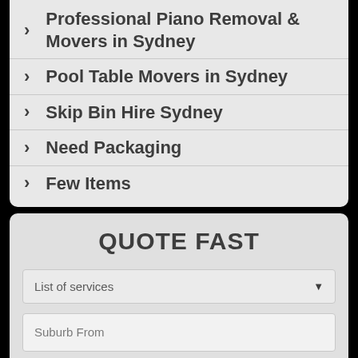Professional Piano Removal & Movers in Sydney
Pool Table Movers in Sydney
Skip Bin Hire Sydney
Need Packaging
Few Items
QUOTE FAST
List of services
Suburb From